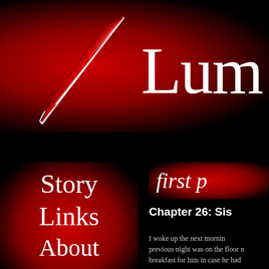[Figure (illustration): Red feather quill on dark red radial gradient background with 'Lum' text partially visible to the right]
Lum
Story
Links
About
first p
Chapter 26: Sis
I woke up the next mornin... previous night was on the floor n... breakfast for him in case he had...